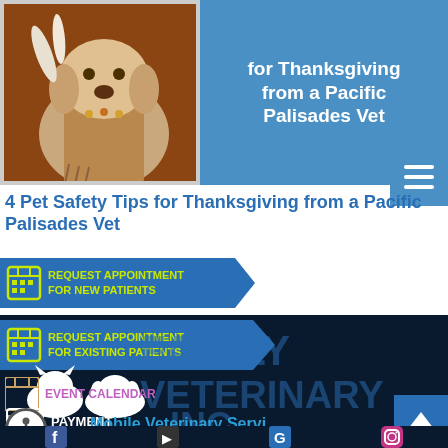[Figure (photo): Dog dressed in Native American costume for Thanksgiving, with text overlay '4 Pet Safety Tips for Thanksgiving from a Pacific Palisades Vet' on blue background, and hamburger menu button]
4 Pet Safety Tips for Thanksgiving from a Pacific Palisades Vet
[Figure (infographic): Blue ribbon button: REQUEST APPOINTMENT FOR NEW PATIENTS with calendar icon]
[Figure (infographic): Dark navy background section with: REQUEST APPOINTMENT FOR EXISTING PATIENTS ribbon button, Family Veterinary Inc. logo text, EVENT CALENDAR link with purple text, cat/dog silhouette icons, PAYMENT link, Mobile Veterinary Services text, accessibility icon, back-to-top arrow, social media icons at bottom]